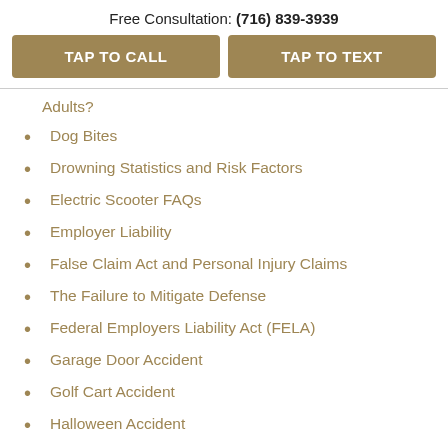Free Consultation: (716) 839-3939
TAP TO CALL
TAP TO TEXT
Adults?
Dog Bites
Drowning Statistics and Risk Factors
Electric Scooter FAQs
Employer Liability
False Claim Act and Personal Injury Claims
The Failure to Mitigate Defense
Federal Employers Liability Act (FELA)
Garage Door Accident
Golf Cart Accident
Halloween Accident